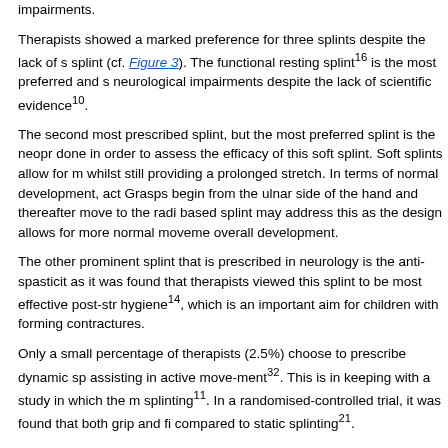impairments.
Therapists showed a marked preference for three splints despite the lack of s splint (cf. Figure 3). The functional resting splint16 is the most preferred and s neurological impairments despite the lack of scientific evidence10.
The second most prescribed splint, but the most preferred splint is the neopr done in order to assess the efficacy of this soft splint. Soft splints allow for m whilst still providing a prolonged stretch. In terms of normal development, act Grasps begin from the ulnar side of the hand and thereafter move to the radi based splint may address this as the design allows for more normal moveme overall development.
The other prominent splint that is prescribed in neurology is the anti-spasticit as it was found that therapists viewed this splint to be most effective post-str hygiene14, which is an important aim for children with forming contractures.
Only a small percentage of therapists (2.5%) choose to prescribe dynamic sp assisting in active move-ment32. This is in keeping with a study in which the m splinting11. In a randomised-controlled trial, it was found that both grip and fi compared to static splinting21.
Occupational therapy is often associated with functional aims, and therefore making process in view of Occupational therapy practices. A number of clien in order to best enhance function. Knowledge about different neurological co future splinting protocols or guidelines12. The current research survey found splints, mainly splinted children with cerebral palsy (72.5% and 80% respecti used thermoplastic splints and 42.5% used soft splints. It is interesting to not developmental disorders and future studies should investigate this further.